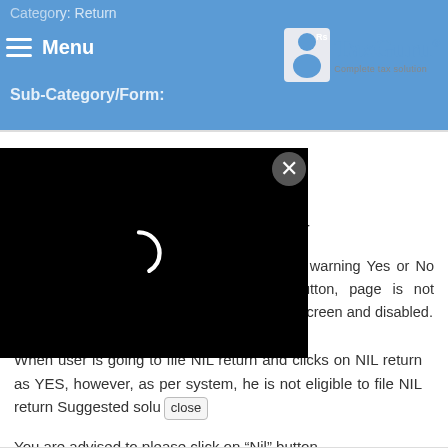Category: Return
Menu
Sub-Category/Form:
[Figure (logo): TaxGuru logo - Complete Tax Solution]
2.5. GSTR-9
Issue/Error Message:
2.5.1. Proceed to file had some error
When this issue/error comes:
[Figure (screenshot): Black video overlay with loading spinner and close button]
GSTR-9 button, warning Yes or No confirmation. button, page is not going on same screen and disabled.
When user is going to file NIL return and clicks on NIL return as YES, however, as per system, he is not eligible to file NIL return Suggested solu close
You are advised to please click on "Nil" button